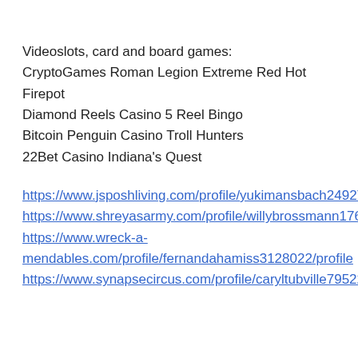Videoslots, card and board games: CryptoGames Roman Legion Extreme Red Hot Firepot
Diamond Reels Casino 5 Reel Bingo
Bitcoin Penguin Casino Troll Hunters
22Bet Casino Indiana's Quest
https://www.jsposhliving.com/profile/yukimansbach2492742/profile
https://www.shreyasarmy.com/profile/willybrossmann17616651/profile
https://www.wreck-a-mendables.com/profile/fernandahamiss3128022/profile
https://www.synapsecircus.com/profile/caryltubville7952237/profile